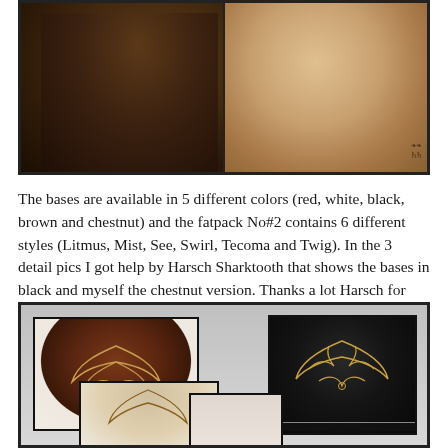[Figure (photo): Two side-by-side close-up photos: left shows a dark-skinned person in profile facing right, right shows a light-skinned person in profile with earrings and a choker necklace, with a watermark logo in the lower right corner.]
The bases are available in 5 different colors (red, white, black, brown and chestnut) and the fatpack No#2 contains 6 different styles (Litmus, Mist, See, Swirl, Tecoma and Twig). In the 3 detail pics I got help by Harsch Sharktooth that shows the bases in black and myself the chestnut version. Thanks a lot Harsch for being patient and giving me that much of your time to snap!
[Figure (photo): Composite image showing the back of heads with decorative hair base patterns. Left panel shows a chestnut/brown hair base with ornate gold design, right panel shows black hair base with similar gold ornate pattern. Lower panels show additional views partially visible.]